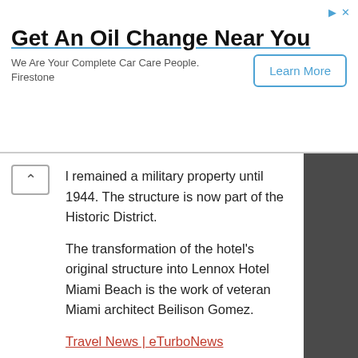[Figure (other): Advertisement banner: Get An Oil Change Near You - Firestone. We Are Your Complete Car Care People. Learn More button.]
l remained a military property until 1944. The structure is now part of the Historic District. The transformation of the hotel's original structure into Lennox Hotel Miami Beach is the work of veteran Miami architect Beilison Gomez.
Travel News | eTurboNews
Share this:
Twitter
Facebook
FILED UNDER: PRESS RELEASE
TAGGED WITH: AMERICAN TRAVEL NEWS, AND, ARCHITECT, ARCHITECTURAL, AREA, ARMY, ART, ART DECO, AUTHENTIC,